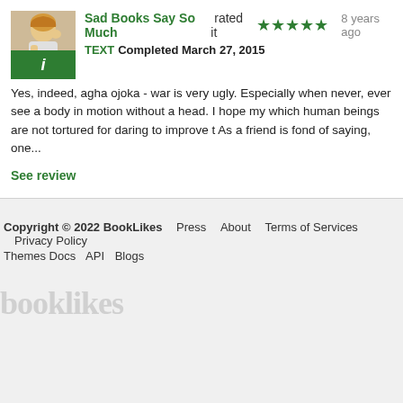[Figure (photo): Avatar of user 'Sad Books Say So Much' — person with books, and green info badge below]
Sad Books Say So Much rated it  ★★★★½  8 years ago
TEXT  Completed March 27, 2015
Yes, indeed, agha ojoka - war is very ugly. Especially when never, ever see a body in motion without a head. I hope my which human beings are not tortured for daring to improve t As a friend is fond of saying, one...
See review
Copyright © 2022 BookLikes   Press   About   Terms of Services   Privacy Policy   Themes Docs   API   Blogs
[Figure (logo): booklikes watermark logo in light gray]